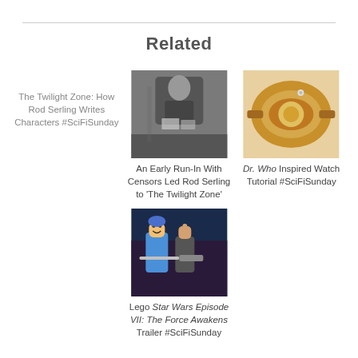Related
The Twilight Zone: How Rod Serling Writes Characters #SciFiSunday
[Figure (photo): Black and white photo of a man in a suit holding papers]
An Early Run-In With Censors Led Rod Serling to 'The Twilight Zone'
[Figure (photo): Close-up photo of a brown leather watch with decorative engraving]
Dr. Who Inspired Watch Tutorial #SciFiSunday
[Figure (photo): Lego Star Wars characters scene, colorful LEGO figures]
Lego Star Wars Episode VII: The Force Awakens Trailer #SciFiSunday